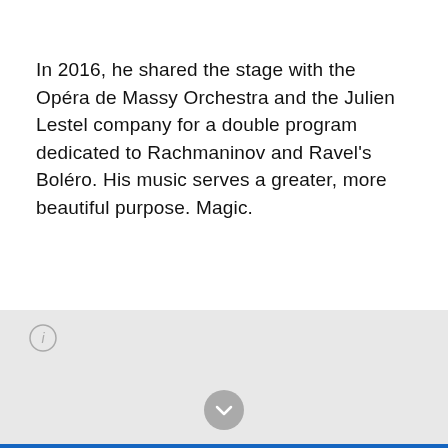In 2016, he shared the stage with the Opéra de Massy Orchestra and the Julien Lestel company for a double program dedicated to Rachmaninov and Ravel's Boléro. His music serves a greater, more beautiful purpose. Magic.
[Figure (other): Info (i) icon — circular outlined icon with letter i inside]
[Figure (other): Chevron down arrow icon — circular grey button with downward chevron arrow]